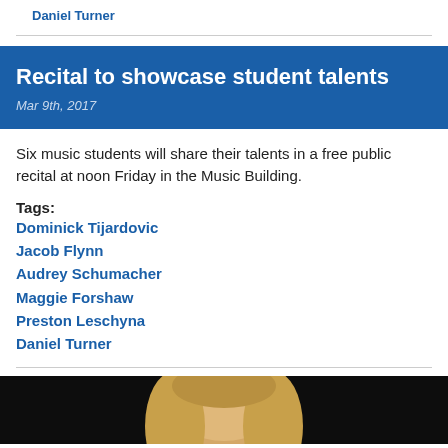Daniel Turner
Recital to showcase student talents
Mar 9th, 2017
Six music students will share their talents in a free public recital at noon Friday in the Music Building.
Tags:
Dominick Tijardovic
Jacob Flynn
Audrey Schumacher
Maggie Forshaw
Preston Leschyna
Daniel Turner
[Figure (photo): Portrait photo of a woman with blonde hair against a dark background]